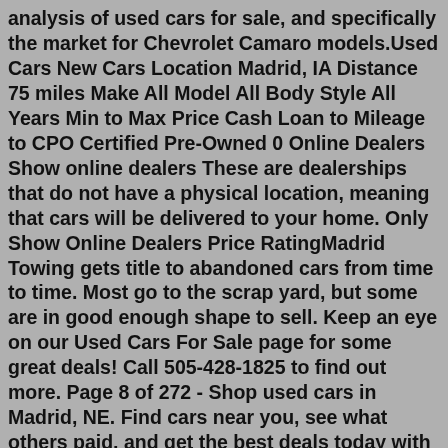analysis of used cars for sale, and specifically the market for Chevrolet Camaro models.Used Cars New Cars Location Madrid, IA Distance 75 miles Make All Model All Body Style All Years Min to Max Price Cash Loan to Mileage to CPO Certified Pre-Owned 0 Online Dealers Show online dealers These are dealerships that do not have a physical location, meaning that cars will be delivered to your home. Only Show Online Dealers Price RatingMadrid Towing gets title to abandoned cars from time to time. Most go to the scrap yard, but some are in good enough shape to sell. Keep an eye on our Used Cars For Sale page for some great deals! Call 505-428-1825 to find out more. Page 8 of 272 - Shop used cars in Madrid, NE. Find cars near you, see what others paid, and get the best deals today with TrueCar! The new policy officially began on July 1. ALSO SEE: 2015 Subaru Outback: First Drive. The program is designed to address Madrid's poor air quality, which has been criticized by officials with the ...2 locations in Madrid Shop locations from $69/day View deals